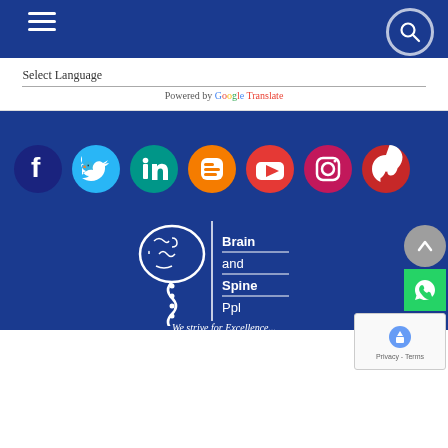[Figure (screenshot): Website header with hamburger menu icon on left and search icon circle on right, on a dark blue background]
Select Language
Powered by Google Translate
[Figure (infographic): Row of social media icons: Facebook (dark blue), Twitter (light blue), LinkedIn (teal), Blogger (orange), YouTube (red), Instagram (pink/purple), Pinterest (red)]
[Figure (logo): Brain and Spine Ppl logo - white brain puzzle piece with spine illustration, text reading Brain and Spine Ppl, tagline: We strive for Excellence...]
[Figure (infographic): Up arrow button (grey circle), WhatsApp button (green square), reCAPTCHA widget showing privacy and terms]